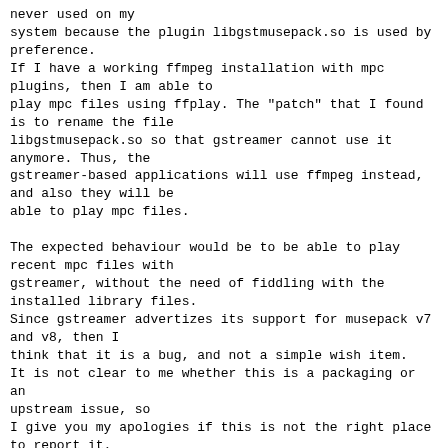never used on my
system because the plugin libgstmusepack.so is used by
preference.
If I have a working ffmpeg installation with mpc
plugins, then I am able to
play mpc files using ffplay. The "patch" that I found
is to rename the file
libgstmusepack.so so that gstreamer cannot use it
anymore. Thus, the
gstreamer-based applications will use ffmpeg instead,
and also they will be
able to play mpc files.

The expected behaviour would be to be able to play
recent mpc files with
gstreamer, without the need of fiddling with the
installed library files.
Since gstreamer advertizes its support for musepack v7
and v8, then I
think that it is a bug, and not a simple wish item.
It is not clear to me whether this is a packaging or an
upstream issue, so
I give you my apologies if this is not the right place
to report it.

Thanks in advance and cheers
Mario

-- System Information:
Debian Release: wheezy/sid
  APT prefers unstable